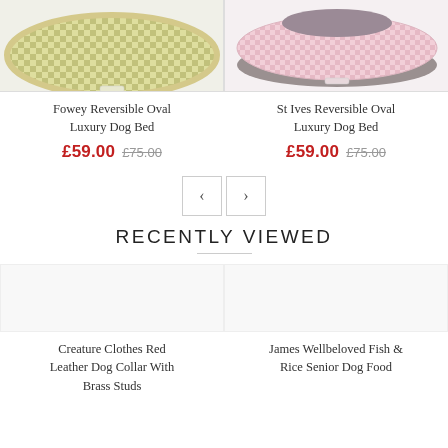[Figure (photo): Fowey Reversible Oval Luxury Dog Bed - green gingham fabric, oval shape, partial view]
[Figure (photo): St Ives Reversible Oval Luxury Dog Bed - pink gingham fabric, oval shape, partial view]
Fowey Reversible Oval Luxury Dog Bed
£59.00 £75.00
St Ives Reversible Oval Luxury Dog Bed
£59.00 £75.00
RECENTLY VIEWED
Creature Clothes Red Leather Dog Collar With Brass Studs
James Wellbeloved Fish & Rice Senior Dog Food